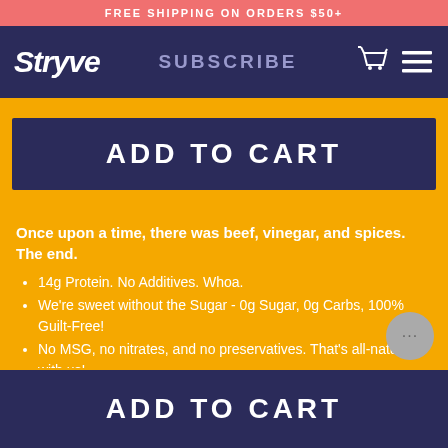FREE SHIPPING ON ORDERS $50+
Stryve
SUBSCRIBE
ADD TO CART
Once upon a time, there was beef, vinegar, and spices. The end.
14g Protein. No Additives. Whoa.
We're sweet without the Sugar - 0g Sugar, 0g Carbs, 100% Guilt-Free!
No MSG, no nitrates, and no preservatives. That's all-natural with us!
Super super diet-friendly (but also just super super delicious).
Gluten-Free, Dairy-Free, Junk-Free, Extra
ADD TO CART